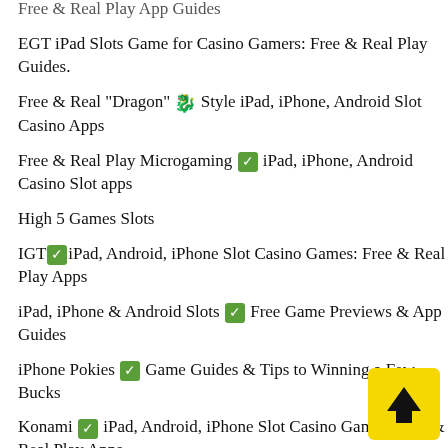Free & Real Play App Guides
EGT iPad Slots Game for Casino Gamers: Free & Real Play Guides.
Free & Real "Dragon" 🐉 Style iPad, iPhone, Android Slot Casino Apps
Free & Real Play Microgaming ✅ iPad, iPhone, Android Casino Slot apps
High 5 Games Slots
IGT✅iPad, Android, iPhone Slot Casino Games: Free & Real Play Apps
iPad, iPhone & Android Slots ✅ Free Game Previews & App Guides
iPhone Pokies ✅ Game Guides & Tips to Winning a Few Bucks
Konami ✅ iPad, Android, iPhone Slot Casino Games: Free & Real Play Apps
Lightning Box Slot Games ✅ iPad, iPhone,